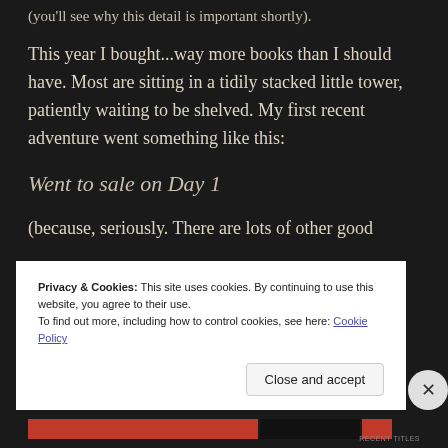(you'll see why this detail is important shortly).
This year I bought...way more books than I should have. Most are sitting in a tidily stacked little tower, patiently waiting to be shelved. My first recent adventure went something like this:
Went to sale on Day 1
(because, seriously. There are lots of other good
Privacy & Cookies: This site uses cookies. By continuing to use this website, you agree to their use.
To find out more, including how to control cookies, see here: Cookie Policy
Close and accept